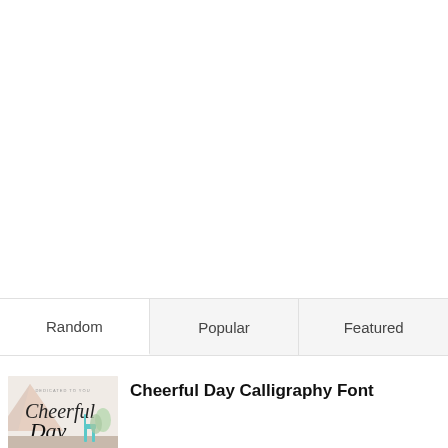[Figure (screenshot): Tab navigation bar with three tabs: Random (active/white background), Popular, Featured]
[Figure (illustration): Thumbnail image showing Cheerful Day calligraphy font preview with decorative script text on a soft pastel background with a tent/tipi and small chair]
Cheerful Day Calligraphy Font